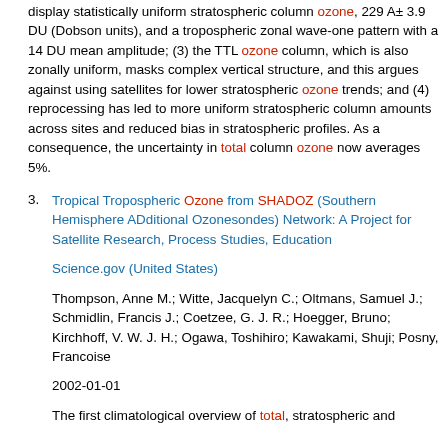display statistically uniform stratospheric column ozone, 229 A± 3.9 DU (Dobson units), and a tropospheric zonal wave-one pattern with a 14 DU mean amplitude; (3) the TTL ozone column, which is also zonally uniform, masks complex vertical structure, and this argues against using satellites for lower stratospheric ozone trends; and (4) reprocessing has led to more uniform stratospheric column amounts across sites and reduced bias in stratospheric profiles. As a consequence, the uncertainty in total column ozone now averages 5%.
3. Tropical Tropospheric Ozone from SHADOZ (Southern Hemisphere ADditional Ozonesondes) Network: A Project for Satellite Research, Process Studies, Education
Science.gov (United States)
Thompson, Anne M.; Witte, Jacquelyn C.; Oltmans, Samuel J.; Schmidlin, Francis J.; Coetzee, G. J. R.; Hoegger, Bruno; Kirchhoff, V. W. J. H.; Ogawa, Toshihiro; Kawakami, Shuji; Posny, Francoise
2002-01-01
The first climatological overview of total, stratospheric and